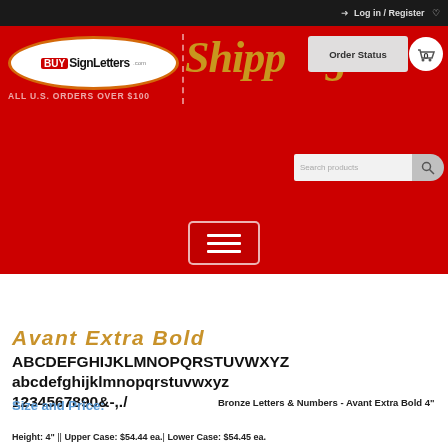Log in / Register
[Figure (screenshot): BuySignLetters.com website header with red background, logo, 'Ships Free ALL U.S. ORDERS OVER $100' text, Order Status button, cart icon, and search box]
[Figure (screenshot): Red navigation bar with hamburger menu button]
[Figure (illustration): Watermark/decorative circular shape in gray in the background of content area]
Avant Extra Bold
ABCDEFGHIJKLMNOPQRSTUVWXYZ abcdefghijklmnopqrstuvwxyz 1234567890&-,./
Size and Price:
Bronze Letters & Numbers - Avant Extra Bold 4"
Height: 4" || Upper Case: $54.44 ea.| Lower Case: $54.45 ea.